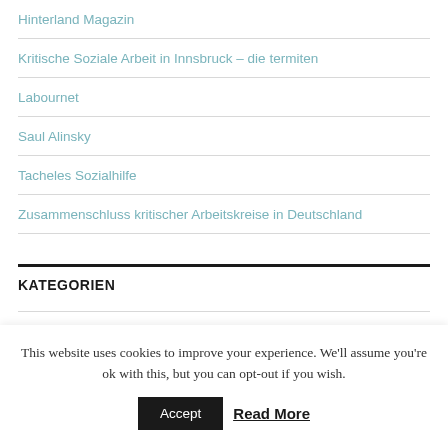Hinterland Magazin
Kritische Soziale Arbeit in Innsbruck – die termiten
Labournet
Saul Alinsky
Tacheles Sozialhilfe
Zusammenschluss kritischer Arbeitskreise in Deutschland
KATEGORIEN
This website uses cookies to improve your experience. We'll assume you're ok with this, but you can opt-out if you wish.
Accept  Read More